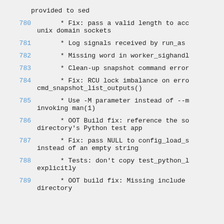provided to sed
780   * Fix: pass a valid length to acc unix domain sockets
781   * Log signals received by run_as
782   * Missing word in worker_sighandl
783   * Clean-up snapshot command error
784   * Fix: RCU lock imbalance on erro cmd_snapshot_list_outputs()
785   * Use -M parameter instead of --m invoking man(1)
786   * OOT Build fix: reference the so directory's Python test app
787   * Fix: pass NULL to config_load_s instead of an empty string
788   * Tests: don't copy test_python_l explicitly
789   * OOT build fix: Missing include directory